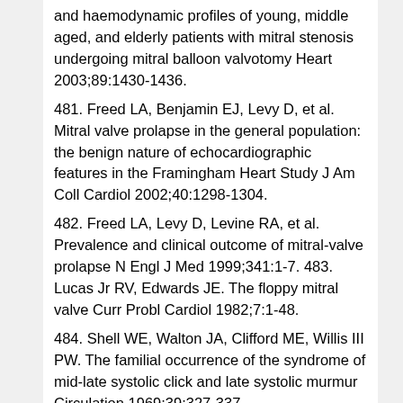and haemodynamic profiles of young, middle aged, and elderly patients with mitral stenosis undergoing mitral balloon valvotomy Heart 2003;89:1430-1436.
481. Freed LA, Benjamin EJ, Levy D, et al. Mitral valve prolapse in the general population: the benign nature of echocardiographic features in the Framingham Heart Study J Am Coll Cardiol 2002;40:1298-1304.
482. Freed LA, Levy D, Levine RA, et al. Prevalence and clinical outcome of mitral-valve prolapse N Engl J Med 1999;341:1-7. 483. Lucas Jr RV, Edwards JE. The floppy mitral valve Curr Probl Cardiol 1982;7:1-48.
484. Shell WE, Walton JA, Clifford ME, Willis III PW. The familial occurrence of the syndrome of mid-late systolic click and late systolic murmur Circulation 1969;39:327-337.
485. Devereux RB, Brown WT, Kramer Fox R...